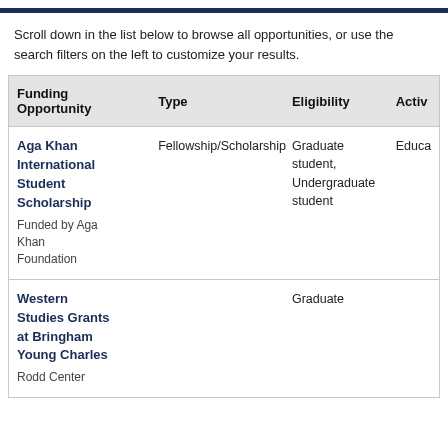Scroll down in the list below to browse all opportunities, or use the search filters on the left to customize your results.
| Funding Opportunity | Type | Eligibility | Activ |
| --- | --- | --- | --- |
| Aga Khan International Student Scholarship
Funded by Aga Khan Foundation | Fellowship/Scholarship | Graduate student, Undergraduate student | Educa |
| Western Studies Grants at Bringham Young Charles
Rodd Center |  | Graduate |  |